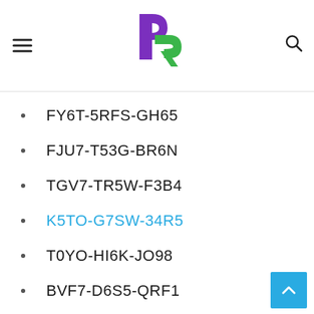Navigation header with logo and hamburger/search icons
FY6T-5RFS-GH65
FJU7-T53G-BR6N
TGV7-TR5W-F3B4
K5TO-G7SW-34R5
T0YO-HI6K-JO98
BVF7-D6S5-QRF1
2YE5-4EDS-FE5B
NT8Y-OJN7-B6V5